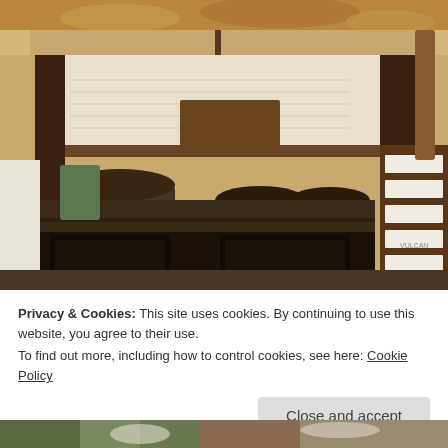[Figure (photo): Abandoned or rustic kitchen interior showing an old, heavily worn cast iron wood-burning stove with pots, pans, and shelving above. The ceiling and walls show peeling paint and deterioration. A wooden structure with striped panels is visible on the right side.]
Privacy & Cookies: This site uses cookies. By continuing to use this website, you agree to their use.
To find out more, including how to control cookies, see here: Cookie Policy
[Figure (photo): Partial view of another image at the bottom of the page showing an outdoor scene with green and brown tones.]